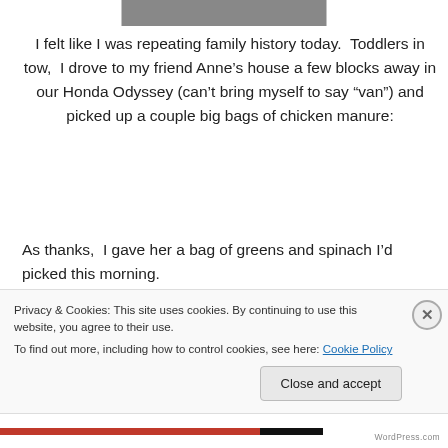[Figure (photo): Partial cropped photo at the top of the page, showing what appears to be bags or items, mostly cut off]
I felt like I was repeating family history today.  Toddlers in tow,  I drove to my friend Anne’s house a few blocks away in our Honda Odyssey (can’t bring myself to say “van”) and picked up a couple big bags of chicken manure:
As thanks,  I gave her a bag of greens and spinach I’d picked this morning.
A few days from Rhode Island Day in...
Privacy & Cookies: This site uses cookies. By continuing to use this website, you agree to their use.
To find out more, including how to control cookies, see here: Cookie Policy
Close and accept